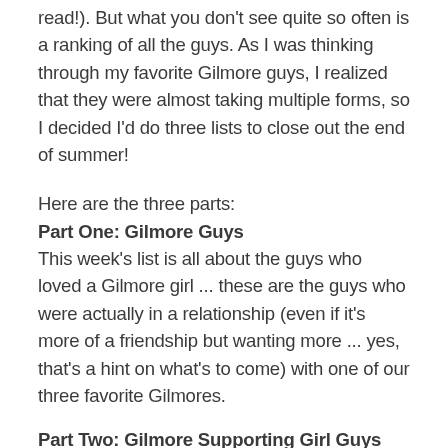read!). But what you don't see quite so often is a ranking of all the guys. As I was thinking through my favorite Gilmore guys, I realized that they were almost taking multiple forms, so I decided I'd do three lists to close out the end of summer!
Here are the three parts:
Part One: Gilmore Guys
This week's list is all about the guys who loved a Gilmore girl ... these are the guys who were actually in a relationship (even if it's more of a friendship but wanting more ... yes, that's a hint on what's to come) with one of our three favorite Gilmores.
Part Two: Gilmore Supporting Girl Guys